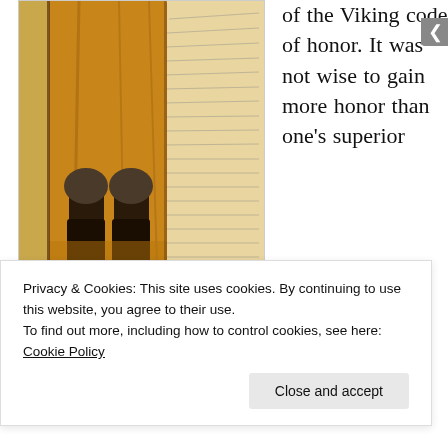[Figure (photo): Medieval manuscript illustration of a Viking warrior figure in yellow/orange robes and dark boots, alongside a page of handwritten manuscript text.]
Warrior, poet, and sometime heroic spewer of vomit, Egil was a Viking through and through
of the Viking code of honor. It was not wise to gain more honor than one's superior
Privacy & Cookies: This site uses cookies. By continuing to use this website, you agree to their use.
To find out more, including how to control cookies, see here: Cookie Policy
Close and accept